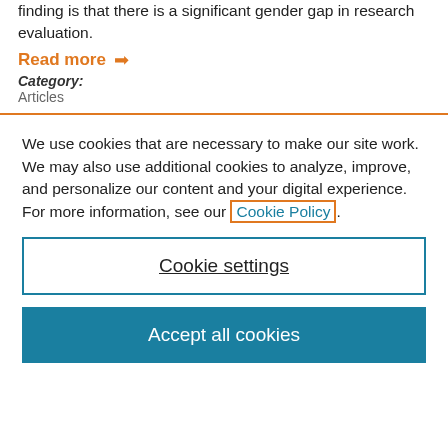finding is that there is a significant gender gap in research evaluation.
Read more →
Category: Articles
We use cookies that are necessary to make our site work. We may also use additional cookies to analyze, improve, and personalize our content and your digital experience. For more information, see our Cookie Policy.
Cookie settings
Accept all cookies